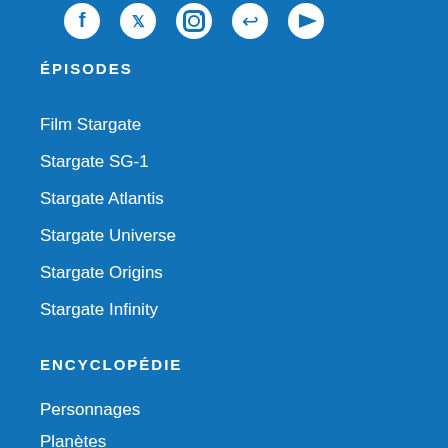[Figure (illustration): Row of social media icons: Facebook, Twitter, Instagram, another icon, YouTube — white on blue background]
ÉPISODES
Film Stargate
Stargate SG-1
Stargate Atlantis
Stargate Universe
Stargate Origins
Stargate Infinity
ENCYCLOPÉDIE
Personnages
Planètes